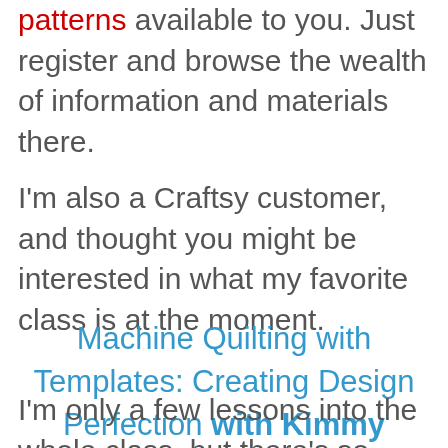patterns available to you. Just register and browse the wealth of information and materials there.
I'm also a Craftsy customer, and thought you might be interested in what my favorite class is at the moment.
Machine Quilting with Templates: Creating Design Perfection with Kimmy Brunner
I'm only a few lessons into the whole class, but there's so much good information for you there.